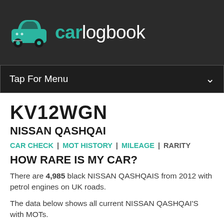carlogbook
Tap For Menu
KV12WGN
NISSAN QASHQAI
CAR CHECK | MOT HISTORY | MILEAGE | RARITY
HOW RARE IS MY CAR?
There are 4,985 black NISSAN QASHQAIS from 2012 with petrol engines on UK roads.
The data below shows all current NISSAN QASHQAI'S with MOTs.
HOW MANY 2012 NISSAN QASHQAIS ARE LEFT?